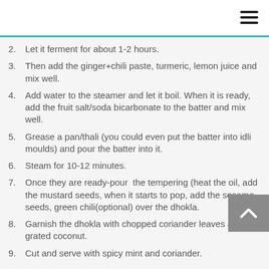2. Let it ferment for about 1-2 hours.
3. Then add the ginger+chili paste, turmeric, lemon juice and mix well.
4. Add water to the steamer and let it boil. When it is ready, add the fruit salt/soda bicarbonate to the batter and mix well.
5. Grease a pan/thali (you could even put the batter into idli moulds) and pour the batter into it.
6. Steam for 10-12 minutes.
7. Once they are ready-pour  the tempering (heat the oil, add the mustard seeds, when it starts to pop, add the sesame seeds, green chili(optional) over the dhokla.
8. Garnish the dhokla with chopped coriander leaves and grated coconut.
9. Cut and serve with spicy mint and coriander.